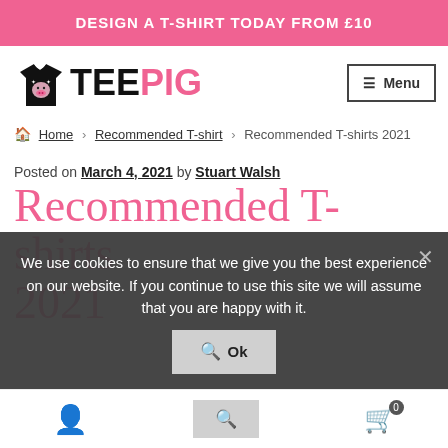DESIGN A T-SHIRT TODAY FROM £10
[Figure (logo): TeePig logo with black t-shirt icon and TEE in black, PIG in pink]
Menu
Home › Recommended T-shirt › Recommended T-shirts 2021
Posted on March 4, 2021 by Stuart Walsh
Recommended T-shirts 2021
We use cookies to ensure that we give you the best experience on our website. If you continue to use this site we will assume that you are happy with it.
Ok